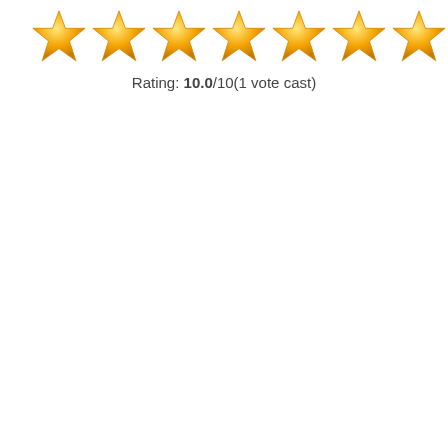[Figure (other): Ten gold star icons arranged in a horizontal row representing a 10/10 rating]
Rating: 10.0/10(1 vote cast)